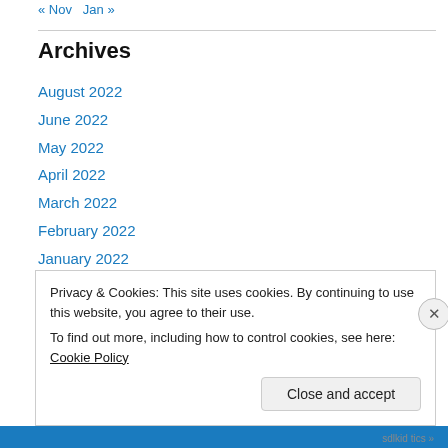« Nov   Jan »
Archives
August 2022
June 2022
May 2022
April 2022
March 2022
February 2022
January 2022
December 2021
November 2021
Privacy & Cookies: This site uses cookies. By continuing to use this website, you agree to their use. To find out more, including how to control cookies, see here: Cookie Policy
Close and accept